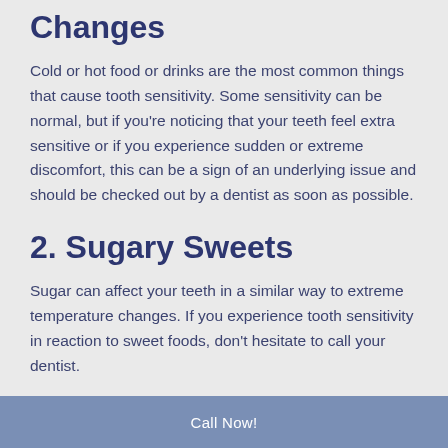Changes
Cold or hot food or drinks are the most common things that cause tooth sensitivity. Some sensitivity can be normal, but if you're noticing that your teeth feel extra sensitive or if you experience sudden or extreme discomfort, this can be a sign of an underlying issue and should be checked out by a dentist as soon as possible.
2. Sugary Sweets
Sugar can affect your teeth in a similar way to extreme temperature changes. If you experience tooth sensitivity in reaction to sweet foods, don't hesitate to call your dentist.
Call Now!